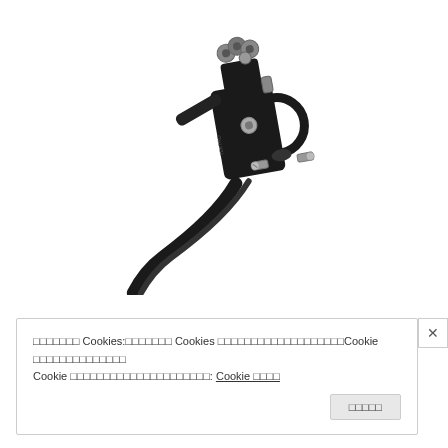[Figure (photo): A black bicycle brake lever assembly with silver hardware (screws/bolts), shown on a white background. The lever has a curved handlebar clamp ring and a long curved brake lever arm extending downward-left.]
xxxxxxx Cookies:xxxxxxx Cookies xxxxxxxxxxxxxxxxxxxxxxxxxCookie xxxxxxxxxxxxxxxxxxxxxx Cookie xxxxxxxxxxxxxxxxxxxxxxxxxxxxxxxxxx: Cookie xxxx